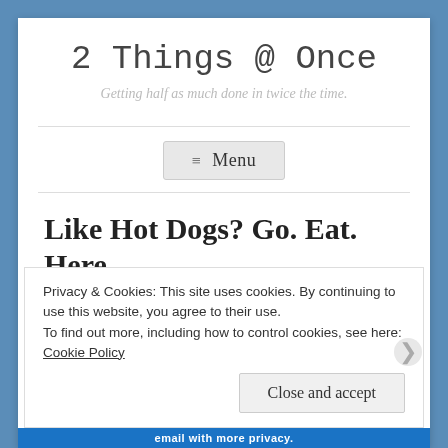2 Things @ Once
Getting half as much done in twice the time.
≡ Menu
Like Hot Dogs? Go. Eat. Here.
OCTOBER 8, 2013
Privacy & Cookies: This site uses cookies. By continuing to use this website, you agree to their use.
To find out more, including how to control cookies, see here: Cookie Policy
Close and accept
email with more privacy.